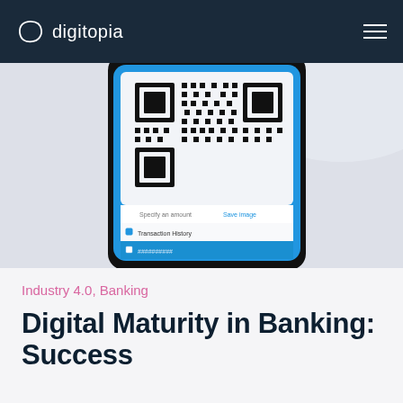digitopia
[Figure (photo): A smartphone displaying a QR code on a blue background banking app interface, with transaction history and UI elements visible on screen.]
Industry 4.0, Banking
Digital Maturity in Banking: Success